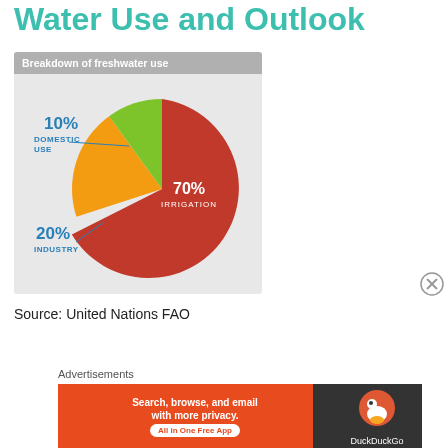Water Use and Outlook
[Figure (pie-chart): Breakdown of freshwater use]
Source: United Nations FAO
Advertisements
[Figure (infographic): DuckDuckGo advertisement banner: Search, browse, and email with more privacy. All in One Free App]